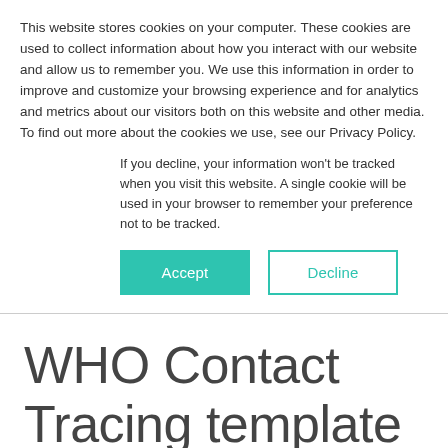This website stores cookies on your computer. These cookies are used to collect information about how you interact with our website and allow us to remember you. We use this information in order to improve and customize your browsing experience and for analytics and metrics about our visitors both on this website and other media. To find out more about the cookies we use, see our Privacy Policy.
If you decline, your information won't be tracked when you visit this website. A single cookie will be used in your browser to remember your preference not to be tracked.
Accept
Decline
WHO Contact Tracing template app available today